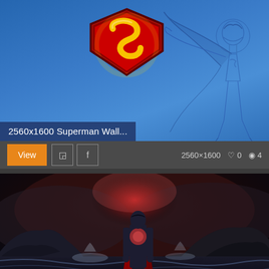[Figure (photo): Superman logo wallpaper with blue background and comic-style Superman sketch on the right]
2560x1600 Superman Wall...
View  2560×1600  ♡ 0  👁 4
[Figure (photo): Man of Steel Superman standing in stormy ocean scene with red glow on chest]